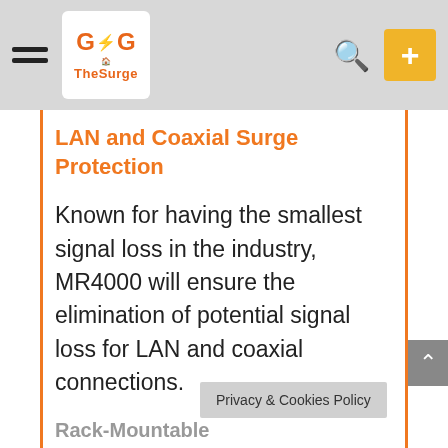GaG TheSurge navigation bar
LAN and Coaxial Surge Protection
Known for having the smallest signal loss in the industry, MR4000 will ensure the elimination of potential signal loss for LAN and coaxial connections.
Rack-Mountable
Yes, MR series are all rack-mountable                    rack
Privacy & Cookies Policy